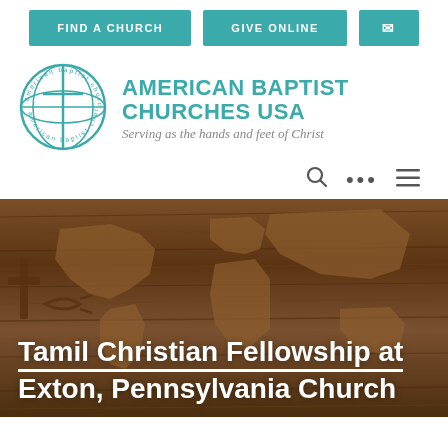FIND A CHURCH | GIVE ONLINE | (email icon)
[Figure (logo): American Baptist Churches USA circular logo with globe and cross, teal color]
AMERICAN BAPTIST CHURCHES USA
Serving as the hands and feet of Christ
[Figure (other): Search icon, ellipsis dots, and hamburger menu icon navigation controls]
[Figure (photo): Wooden carved world map with cross and fish symbols, dark brown wood texture background]
Tamil Christian Fellowship at Exton, Pennsylvania Church